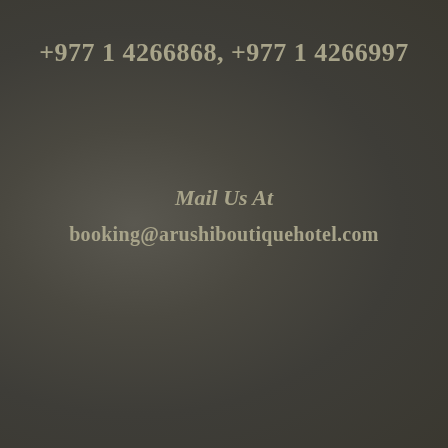+977 1 4266868, +977 1 4266997
Mail Us At
booking@arushiboutiquehotel.com